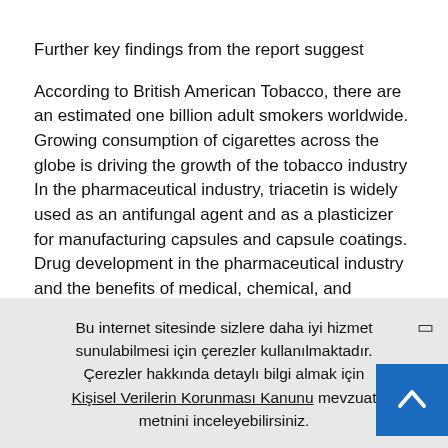Further key findings from the report suggest
According to British American Tobacco, there are an estimated one billion adult smokers worldwide.
Growing consumption of cigarettes across the globe is driving the growth of the tobacco industry
In the pharmaceutical industry, triacetin is widely used as an antifungal agent and as a plasticizer for manufacturing capsules and capsule coatings.
Drug development in the pharmaceutical industry and the benefits of medical, chemical, and biological research has propelled the growth of the pharmaceutical industry across the globe Triacetin market is fastest growing at a CAGR of 0% in Asia Pacific due the
Bu internet sitesinde sizlere daha iyi hizmet sunulabilmesi için çerezler kullanılmaktadır. Çerezler hakkında detaylı bilgi almak için Kişisel Verilerin Korunması Kanunu mevzuat metnini inceleyebilirsiniz.